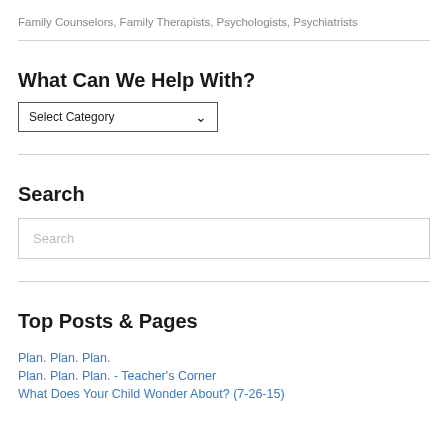Family Counselors, Family Therapists, Psychologists, Psychiatrists
What Can We Help With?
Select Category (dropdown)
Search
Search (input placeholder)
Top Posts & Pages
Plan. Plan. Plan.
Plan. Plan. Plan. - Teacher's Corner
What Does Your Child Wonder About? (7-26-15)